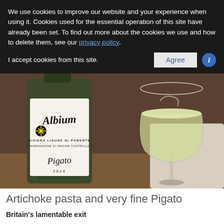We use cookies to improve our website and your experience when using it. Cookies used for the essential operation of this site have already been set. To find out more about the cookies we use and how to delete them, see our privacy policy.
I accept cookies from this site.
[Figure (photo): A bottle of Albium Pigato wine, Riviera Ligure di Ponente, Denominazione di Origine Controllata, 2014, Poggio dei Gorleri, next to a wine glass filled with white/pale yellow wine, on a wooden table.]
Artichoke pasta and very fine Pigato
Britain's lamentable exit